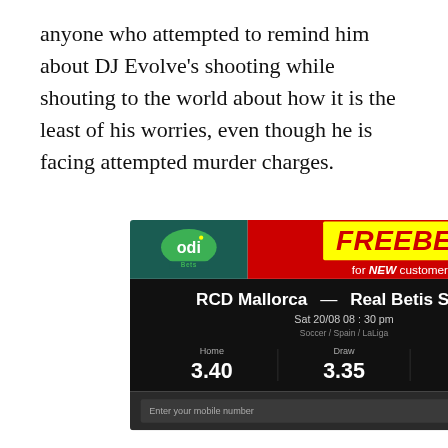anyone who attempted to remind him about DJ Evolve's shooting while shouting to the world about how it is the least of his worries, even though he is facing attempted murder charges.
[Figure (other): Odibets advertisement showing a FREEBET offer for new customers, with a betting slip for RCD Mallorca vs Real Betis Seville on Sat 20/08 08:30 pm, Soccer/Spain/LaLiga. Odds: Home 3.40, Draw 3.35, Away 2.35. Includes a mobile number input field.]